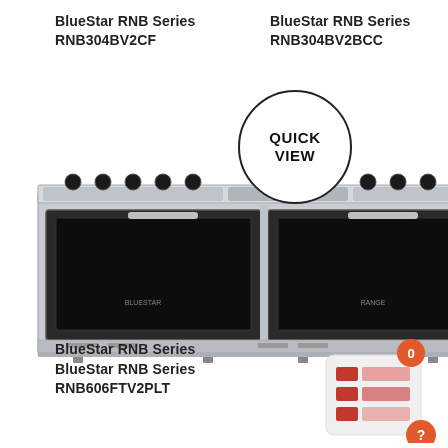BlueStar RNB Series
RNB304BV2CF
BlueStar RNB Series
RNB304BV2BCC
[Figure (photo): BlueStar RNB Series stainless steel range with four burners and griddle, double oven doors, with a 'QUICK VIEW' overlay circle in the upper center]
BlueStar RNB Series
BlueStar RNB Series
RNB606FTV2PLT
[Figure (infographic): Compare widget icon with orange badge showing '0' and colored grid squares, plus orange help/question mark button at bottom right]